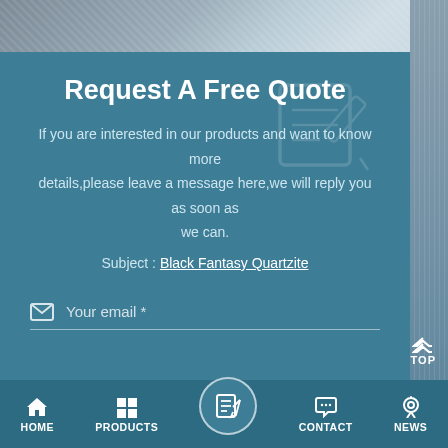[Figure (screenshot): Top banner with metallic building/facade texture in grey-blue tones]
Request A Free Quote
If you are interested in our products and want to know more details,please leave a message here,we will reply you as soon as we can.
Subject : Black Fantasy Quartzite
Your email *
HOME   PRODUCTS   [quote icon]   CONTACT   NEWS